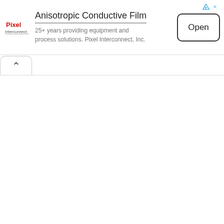[Figure (screenshot): Advertisement banner for Pixel Interconnect showing logo, title 'Anisotropic Conductive Film', description text, and an 'Open' button. Corner has ad indicator icons (triangle and X).]
Anisotropic Conductive Film
25+ years providing equipment and process solutions. Pixel Interconnect, Inc.